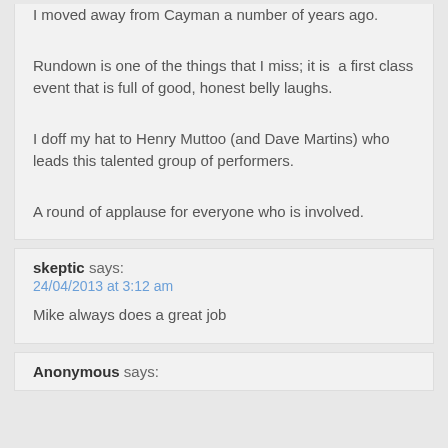I moved away from Cayman a number of years ago.
Rundown is one of the things that I miss; it is  a first class event that is full of good, honest belly laughs.
I doff my hat to Henry Muttoo (and Dave Martins) who leads this talented group of performers.
A round of applause for everyone who is involved.
skeptic says:
24/04/2013 at 3:12 am
Mike always does a great job
Anonymous says: